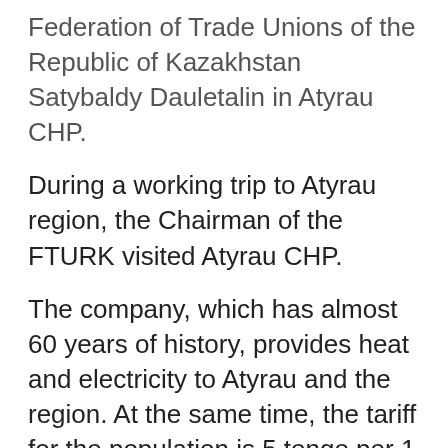Federation of Trade Unions of the Republic of Kazakhstan Satybaldy Dauletalin in Atyrau CHP.
During a working trip to Atyrau region, the Chairman of the FTURK visited Atyrau CHP.
The company, which has almost 60 years of history, provides heat and electricity to Atyrau and the region. At the same time, the tariff for the population is 5 tenge per 1 kW/h. The marginal prices for electric energy for the population in Atyrau remain the lowest compared to other regions of the country due to the discounts that the local gas supplier makes to the region as part of the social program. For comparison, in the capital, 1 kW/h costs the population 15.22 tenge.